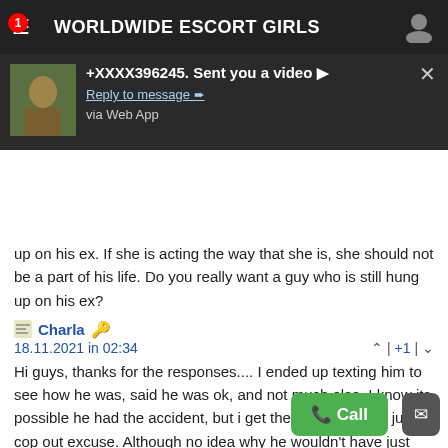WORLDWIDE ESCORT GIRLS
[Figure (screenshot): Push notification popup: '+XXXX396245. Sent you a video ▶ Reply to message ➨ via Web App' with thumbnail image and close button]
up on his ex. If she is acting the way that she is, she should not be a part of his life. Do you really want a guy who is still hung up on his ex?
Charla 18.11.2021 in 02:34 | +1 |
Hi guys, thanks for the responses.... I ended up texting him to see how he was, said he was ok, and not much else. I know its possible he had the accident, but i get the feeling that its just a cop out excuse. Although no idea why he wouldn't have just said, Hey im not interested! We only met twice, im not exactly that worried about it, I just thought he was quite nice and was enjoying getting to know him. So many people play games out there!!! Its so frustrating!
Fennema 🇺🇦 18.11.2021 in 20:01 | +1 |
However, you just think that these people, people B... e ti... try and help, especially younger people, just don't understand YOUR